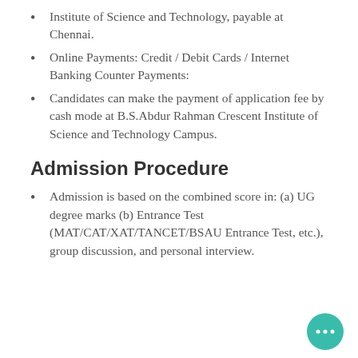Institute of Science and Technology, payable at Chennai.
Online Payments: Credit / Debit Cards / Internet Banking Counter Payments:
Candidates can make the payment of application fee by cash mode at B.S.Abdur Rahman Crescent Institute of Science and Technology Campus.
Admission Procedure
Admission is based on the combined score in: (a) UG degree marks (b) Entrance Test (MAT/CAT/XAT/TANCET/BSAU Entrance Test, etc.), group discussion, and personal interview.